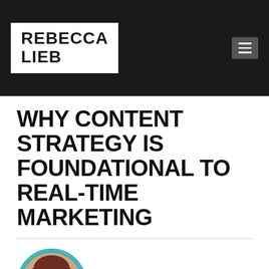REBECCA LIEB
WHY CONTENT STRATEGY IS FOUNDATIONAL TO REAL-TIME MARKETING
[Figure (photo): Circular portrait photo of Rebecca Lieb, a woman with short brown hair, smiling, with a teal/cyan circular border]
Submitted by Rebecca Lieb on Mon, 2013-12-23 10:02